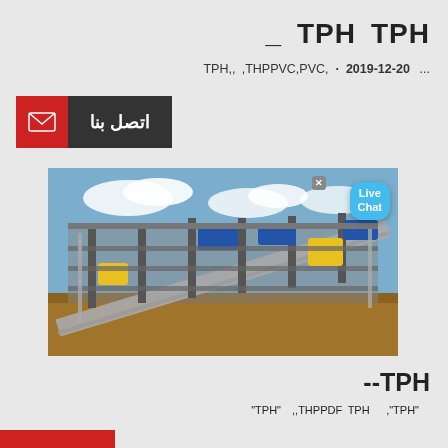_ TPH TPH
2019-12-20 · PVC,TPHPVC, ,,,TPH  ...
[Figure (infographic): Contact us button with email icon on red background and Arabic text 'اتصل بنا' on dark background]
[Figure (photo): Industrial conveyor belt system and mining equipment at a large facility, with yellow and blue machinery against a sky with clouds. A Live Chat bubble is overlaid in the top-right corner.]
--TPH
"TPH"  ,,TPHPDF TPH   ,"TPH"